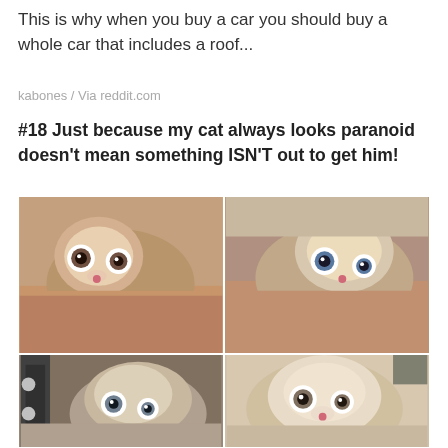This is why when you buy a car you should buy a whole car that includes a roof...
kabones / Via reddit.com
#18 Just because my cat always looks paranoid doesn't mean something ISN'T out to get him!
[Figure (photo): Four-photo collage of a paranoid-looking fluffy cat with wide eyes, resting its chin on a fuzzy blanket from different angles]